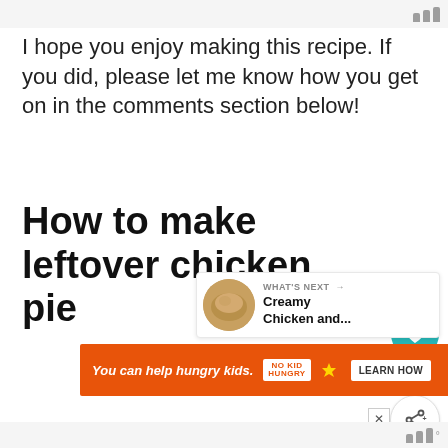I hope you enjoy making this recipe. If you did, please let me know how you get on in the comments section below!
How to make leftover chicken pie
[Figure (infographic): Heart/like button (teal circle with heart icon), count of 198, and share button (white circle with share icon)]
[Figure (infographic): What's Next card with thumbnail image of chicken dish, label 'WHAT'S NEXT →' and title text 'Creamy Chicken and...']
[Figure (infographic): Orange advertisement banner: 'You can help hungry kids.' with No Kid Hungry logo and 'LEARN HOW' button, with close X button]